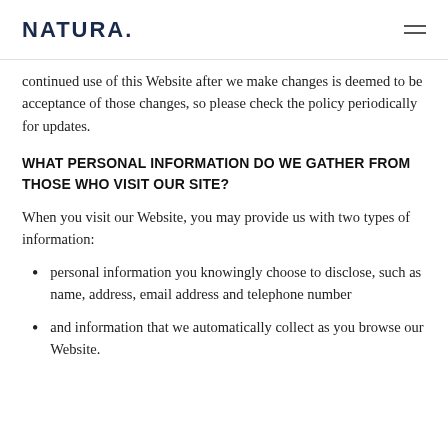NATURA
continued use of this Website after we make changes is deemed to be acceptance of those changes, so please check the policy periodically for updates.
WHAT PERSONAL INFORMATION DO WE GATHER FROM THOSE WHO VISIT OUR SITE?
When you visit our Website, you may provide us with two types of information:
personal information you knowingly choose to disclose, such as name, address, email address and telephone number
and information that we automatically collect as you browse our Website.